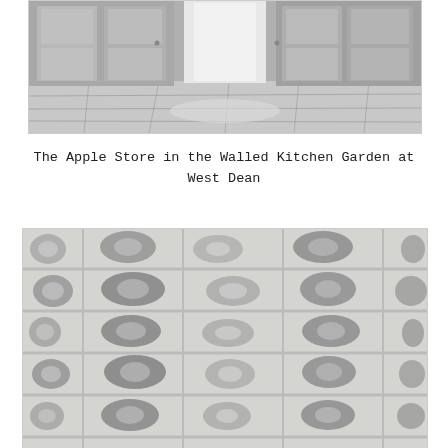[Figure (photo): Black and white photograph showing the interior of the Apple Store in the Walled Kitchen Garden at West Dean — wooden cabinet doors and stone/tile floor visible.]
The Apple Store in the Walled Kitchen Garden at West Dean
[Figure (photo): Black and white close-up photograph of a flint and mortar stone wall with a grid-like pattern of large rounded flint stones set in lighter mortar.]